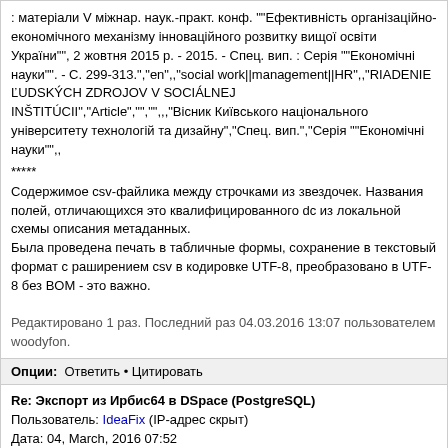: матеріали V міжнар. наук.-практ. конф. ""Ефективність організаційно-економічного механізму інноваційного розвитку вищої освіти України"", 2 жовтня 2015 р. - 2015. - Спец. вип. : Серія ""Економічні науки"". - С. 299-313.","en",,"social work||management||HR",,"RIADENIE &#317;UDSK&#221;CH ZDROJOV V SOCI&#193;LNEJ IN&#352;TIT&#218;CII","Article","","",,"Вісник Київського національного університету технологій та дизайну","Спец. вип.","Серія ""Економічні науки"",,
*****
Содержимое csv-файлика между строчками из звездочек. Названия полей, отличающихся это квалифицированного dc из локальной схемы описания метаданных. Была проведена печать в табличные формы, сохранение в текстовый формат с раширением csv в кодировке UTF-8, преобразовано в UTF-8 без BOM - это важно.
Редактировано 1 раз. Последний раз 04.03.2016 13:07 пользователем woodyfon.
Опции:  Ответить • Цитировать
Re: Экспорт из Ирбис64 в DSpace (PostgreSQL)
Пользователь: IdeaFix (IP-адрес скрыт)
Дата: 04, March, 2016 07:52

woodyfon